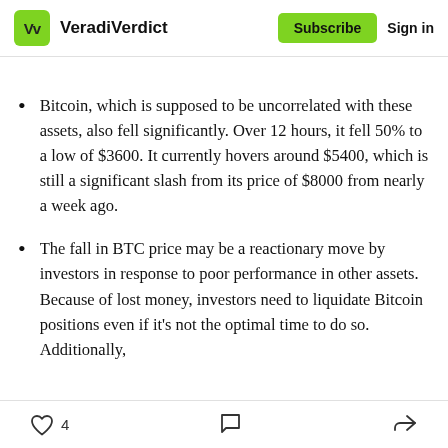VeradiVerdict | Subscribe | Sign in
Bitcoin, which is supposed to be uncorrelated with these assets, also fell significantly. Over 12 hours, it fell 50% to a low of $3600. It currently hovers around $5400, which is still a significant slash from its price of $8000 from nearly a week ago.
The fall in BTC price may be a reactionary move by investors in response to poor performance in other assets. Because of lost money, investors need to liquidate Bitcoin positions even if it's not the optimal time to do so. Additionally,
4 (likes) | comment | share